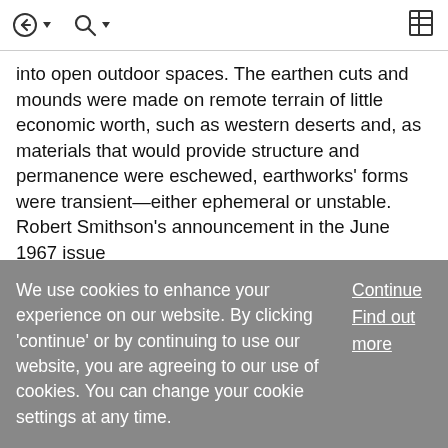Navigation and search toolbar
into open outdoor spaces. The earthen cuts and mounds were made on remote terrain of little economic worth, such as western deserts and, as materials that would provide structure and permanence were eschewed, earthworks' forms were transient—either ephemeral or unstable. Robert Smithson's announcement in the June 1967 issue
... Show More
Article
Eccentric abstraction 🔒
We use cookies to enhance your experience on our website. By clicking 'continue' or by continuing to use our website, you are agreeing to our use of cookies. You can change your cookie settings at any time.
Continue
Find out more